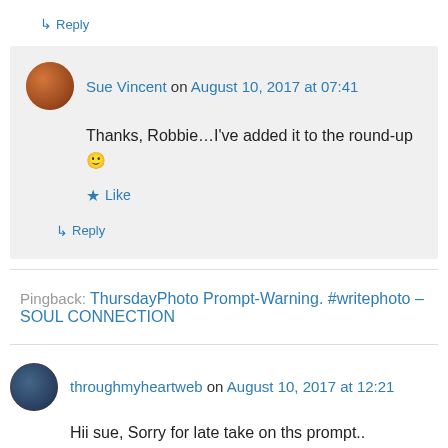↳ Reply
Sue Vincent on August 10, 2017 at 07:41
Thanks, Robbie...I've added it to the round-up 🙂
★ Like
↳ Reply
Pingback: ThursdayPhoto Prompt-Warning. #writephoto – SOUL CONNECTION
throughmyheartweb on August 10, 2017 at 12:21
Hii sue, Sorry for late take on ths prompt..